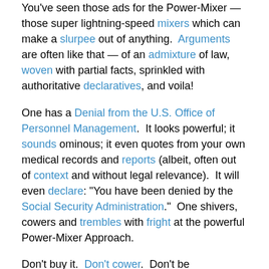You've seen those ads for the Power-Mixer — those super lightning-speed mixers which can make a slurpee out of anything.  Arguments are often like that — of an admixture of law, woven with partial facts, sprinkled with authoritative declaratives, and voila!
One has a Denial from the U.S. Office of Personnel Management.  It looks powerful; it sounds ominous; it even quotes from your own medical records and reports (albeit, often out of context and without legal relevance).  It will even declare: "You have been denied by the Social Security Administration."  One shivers, cowers and trembles with fright at the powerful Power-Mixer Approach.
Don't buy it.  Don't cower.  Don't be intimidated.  Such an approach is meant to frighten, as all Power-Mixer approaches are formulated for that very purpose.